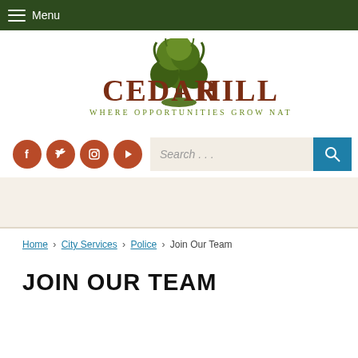Menu
[Figure (logo): Cedar Hill city logo with tree illustration and tagline 'Where Opportunities Grow Naturally']
[Figure (infographic): Social media icons (Facebook, Twitter, Instagram, YouTube) in red circles, plus search bar with teal search button]
Home › City Services › Police › Join Our Team
JOIN OUR TEAM